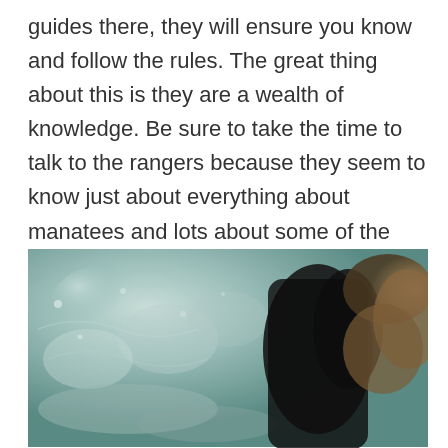guides there, they will ensure you know and follow the rules.  The great thing about this is they are a wealth of knowledge. Be sure to take the time to talk to the rangers because they seem to know just about everything about manatees and lots about some of the individual manatees that are there.  Pretty awesome. One thing I learned is manatees like bright nail polish.  Good to know!
[Figure (photo): Underwater photograph showing a manatee submerged in shallow water with sunlight filtering through, with rocky or sandy bottom visible and a dark silhouette of the animal on the right side.]